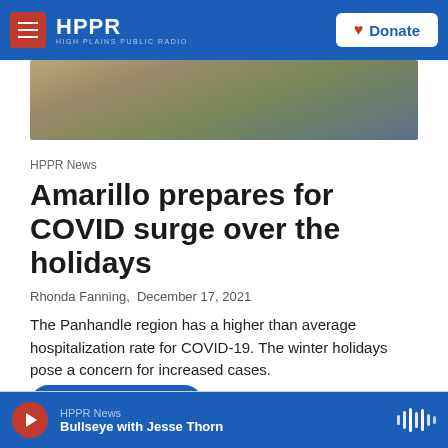HPPR HIGH PLAINS PUBLIC RADIO | Donate
[Figure (photo): Outdoor landscape photo showing trees and brush, partial view of an HPPR sign]
HPPR News
Amarillo prepares for COVID surge over the holidays
Rhonda Fanning, December 17, 2021
The Panhandle region has a higher than average hospitalization rate for COVID-19. The winter holidays pose a concern for increased cases.
LISTEN • 5:00
HPPR News — Bullseye with Jesse Thorn